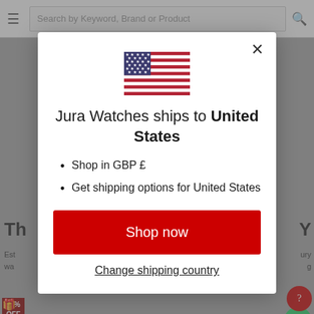[Figure (screenshot): Background webpage showing Jura Watches website with search bar, hamburger menu, partially visible page content, with grey overlay behind the modal popup]
[Figure (illustration): United States flag shown inside the modal dialog]
Jura Watches ships to United States
Shop in GBP £
Get shipping options for United States
Shop now
Change shipping country